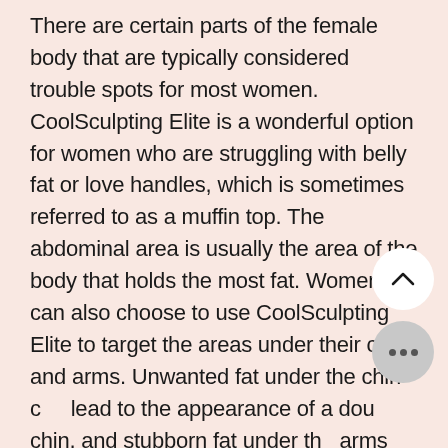There are certain parts of the female body that are typically considered trouble spots for most women. CoolSculpting Elite is a wonderful option for women who are struggling with belly fat or love handles, which is sometimes referred to as a muffin top. The abdominal area is usually the area of the body that holds the most fat. Women can also choose to use CoolSculpting Elite to target the areas under their chin and arms. Unwanted fat under the chin can lead to the appearance of a double chin, and stubborn fat under the arms can lead them to look fla... especially when waving.